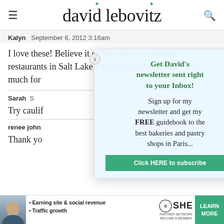david lebovitz
Kalyn   September 6, 2012 3:16am
I love these! Believe it or not, there are several restaurants in Salt Lake That feature them. Thanks so much for
[Figure (other): Newsletter signup modal overlay with text: Get David's newsletter sent right to your Inbox! Sign up for my newsletter and get my FREE guidebook to the best bakeries and pastry shops in Paris...]
Sarah   S
Try caulif
renee john
Thank yo   I usually
[Figure (infographic): SHE Partner Network advertisement banner: Earning site & social revenue, Traffic growth. LEARN MORE button.]